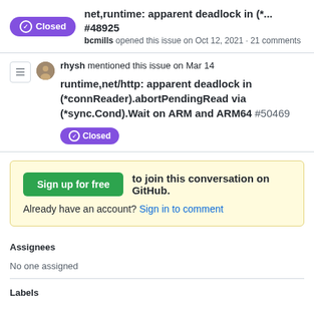net,runtime: apparent deadlock in (*... #48925
bcmills opened this issue on Oct 12, 2021 · 21 comments
rhysh mentioned this issue on Mar 14
runtime,net/http: apparent deadlock in (*connReader).abortPendingRead via (*sync.Cond).Wait on ARM and ARM64 #50469
Closed
Sign up for free   to join this conversation on GitHub.
Already have an account? Sign in to comment
Assignees
No one assigned
Labels